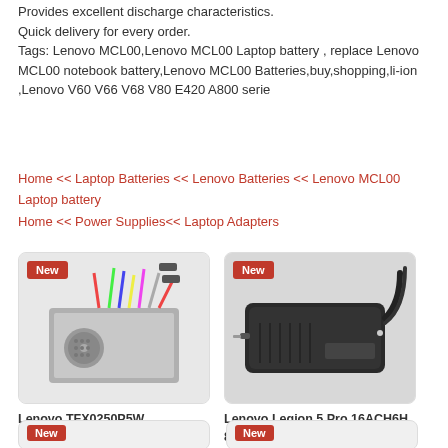Provides excellent discharge characteristics.
Quick delivery for every order.
Tags: Lenovo MCL00,Lenovo MCL00 Laptop battery , replace Lenovo MCL00 notebook battery,Lenovo MCL00 Batteries,buy,shopping,li-ion ,Lenovo V60 V66 V68 V80 E420 A800 serie
Home << Laptop Batteries << Lenovo Batteries << Lenovo MCL00 Laptop battery
Home << Power Supplies<< Laptop Adapters
[Figure (photo): Lenovo TFX0250P5W TFX0250AWWA PC6038 power supply unit with colored cables, New badge]
Lenovo TFX0250P5W TFX0250AWWA PC6038
[Figure (photo): Lenovo Legion 5 Pro 16ACH6H 82JQ008H laptop adapter/power brick in black, New badge]
Lenovo Legion 5 Pro 16ACH6H 82JQ008H
20V 15A 300W